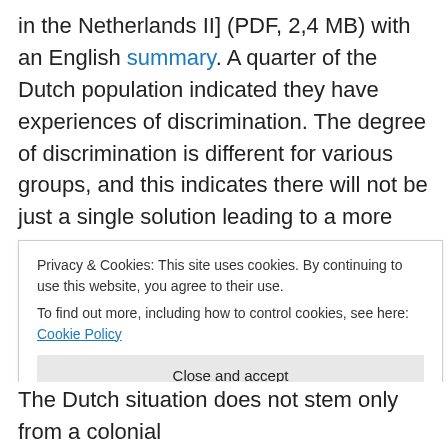in the Netherlands II] (PDF, 2,4 MB) with an English summary. A quarter of the Dutch population indicated they have experiences of discrimination. The degree of discrimination is different for various groups, and this indicates there will not be just a single solution leading to a more inclusive society. The report shows not only people with a different origin perceive discrimination, but their numbers are surely high, and they perceive it stronger than other groups. They mention things such as not getting a job because their name sounds foreign. Buying a house can be difficult when some estate agents accept
Privacy & Cookies: This site uses cookies. By continuing to use this website, you agree to their use. To find out more, including how to control cookies, see here: Cookie Policy
The Dutch situation does not stem only from a colonial